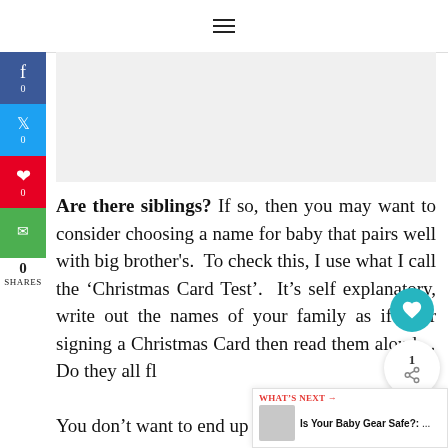☰
[Figure (other): Gray advertisement placeholder block]
Are there siblings? If so, then you may want to consider choosing a name for baby that pairs well with big brother's. To check this, I use what I call the 'Christmas Card Test'. It's self explanatory, write out the names of your family as if your signing a Christmas Card then read them aloud...Do they all fl... You don't want to end up with something like
WHAT'S NEXT → Is Your Baby Gear Safe?: ...